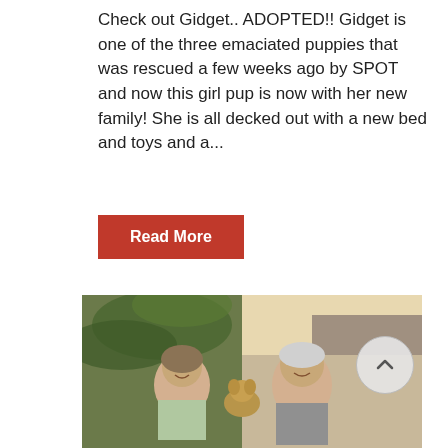Check out Gidget.. ADOPTED!! Gidget is one of the three emaciated puppies that was rescued a few weeks ago by SPOT and now this girl pup is now with her new family! She is all decked out with a new bed and toys and a...
Read More
[Figure (photo): An elderly couple outdoors smiling, holding a small dog (Gidget), with palm trees and a house in the background.]